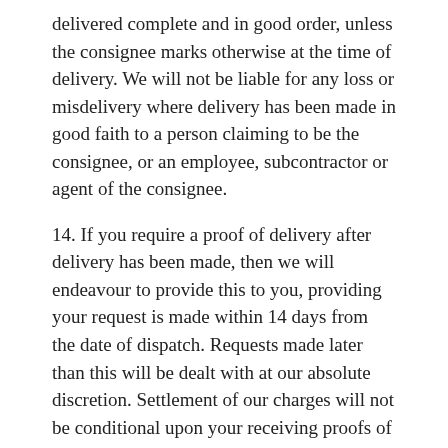delivered complete and in good order, unless the consignee marks otherwise at the time of delivery. We will not be liable for any loss or misdelivery where delivery has been made in good faith to a person claiming to be the consignee, or an employee, subcontractor or agent of the consignee.
14. If you require a proof of delivery after delivery has been made, then we will endeavour to provide this to you, providing your request is made within 14 days from the date of dispatch. Requests made later than this will be dealt with at our absolute discretion. Settlement of our charges will not be conditional upon your receiving proofs of delivery, and you cannot delay or withhold payment pending receipt of proofs of delivery, irrespective of when any request was made to us.
15. We will retain original copy proofs of delivery